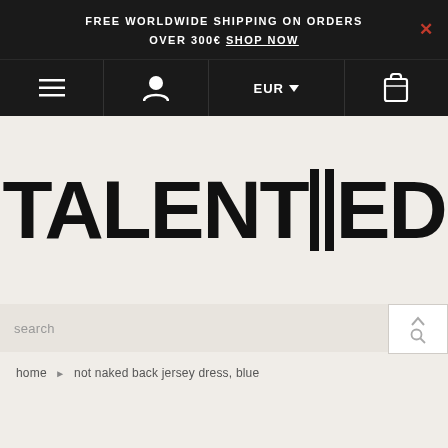FREE WORLDWIDE SHIPPING ON ORDERS OVER 300€ SHOP NOW
[Figure (screenshot): Navigation bar with hamburger menu, user icon, EUR currency selector with dropdown arrow, and bag/box icon]
[Figure (logo): TALENTED brand logo in large bold black sans-serif font on light beige background]
search
home › not naked back jersey dress, blue